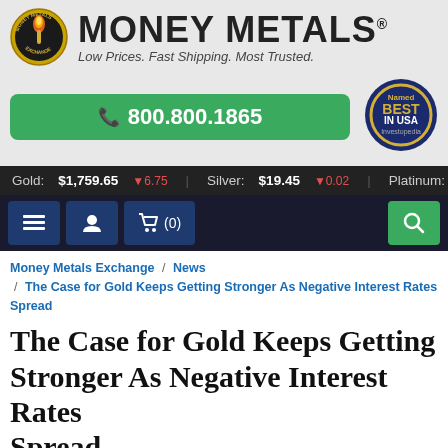[Figure (logo): Money Metals Exchange logo with torch icon and tagline 'Low Prices. Fast Shipping. Most Trusted.']
800.800.1865
[Figure (illustration): Named Best In USA - Investopedia badge]
Gold: $1,759.65 -6.75 | Silver: $19.45 -0.02 | Platinum: $893.80
[Figure (infographic): Navigation bar with hamburger menu, user icon, cart (0), and search button]
Money Metals Exchange / News / The Case for Gold Keeps Getting Stronger As Negative Interest Rates Spread
The Case for Gold Keeps Getting Stronger As Negative Interest Rates Spread
by: Clint Siegner  Money Metals News Service
August 19th, 2019  1 Comment